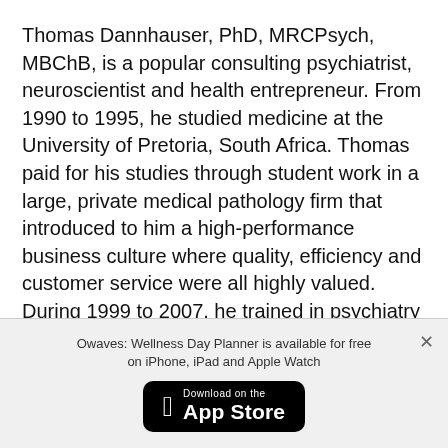Thomas Dannhauser, PhD, MRCPsych, MBChB, is a popular consulting psychiatrist, neuroscientist and health entrepreneur. From 1990 to 1995, he studied medicine at the University of Pretoria, South Africa. Thomas paid for his studies through student work in a large, private medical pathology firm that introduced to him a high-performance business culture where quality, efficiency and customer service were all highly valued. During 1999 to 2007, he trained in psychiatry at the Royal London Hospital and University College London.
Owaves: Wellness Day Planner is available for free on iPhone, iPad and Apple Watch
[Figure (other): Download on the App Store button (black rounded rectangle with Apple logo)]